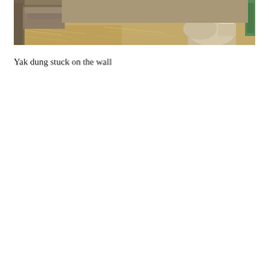[Figure (photo): Photograph showing a storage or barn area with hay/straw on the ground, wooden logs or debris stacked against a wall on the left, bags/sacks and a person crouching near the right side, with a green structure visible. The scene appears rural or agricultural.]
Yak dung stuck on the wall